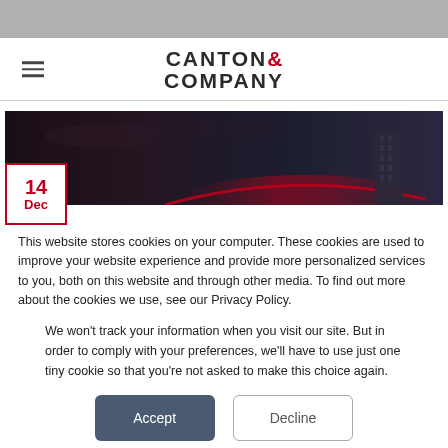[Figure (logo): Canton & Company logo with red ampersand]
[Figure (photo): Dark cityscape hero image with date badge showing 14 Dec]
This website stores cookies on your computer. These cookies are used to improve your website experience and provide more personalized services to you, both on this website and through other media. To find out more about the cookies we use, see our Privacy Policy.
We won't track your information when you visit our site. But in order to comply with your preferences, we'll have to use just one tiny cookie so that you're not asked to make this choice again.